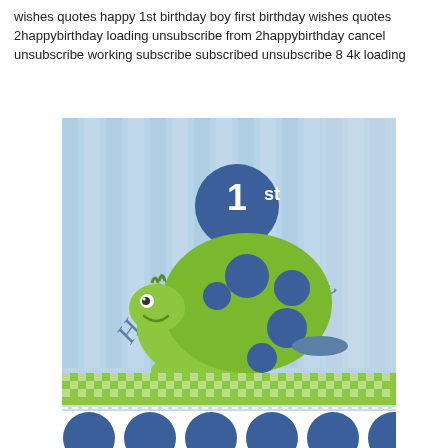wishes quotes happy 1st birthday boy first birthday wishes quotes 2happybirthday loading unsubscribe from 2happybirthday cancel unsubscribe working subscribe subscribed unsubscribe 8 4k loading
[Figure (illustration): A birthday napkin illustration featuring a cartoon turtle with a green polka-dot shell. The background has blue vertical stripes. Text reads 'Happy 1st Birthday' in blue lettering. The bottom of the napkin has a green gingham/checkered band and a row of large blue polka dots at the very bottom.]